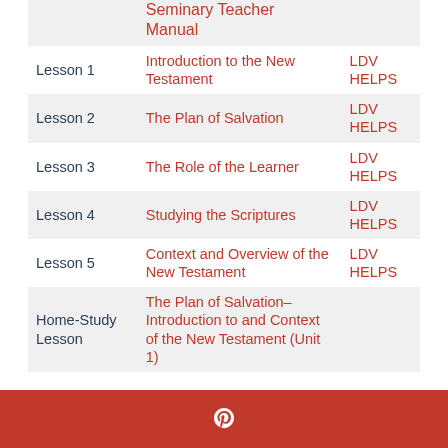|  | Seminary Teacher Manual |  |
| --- | --- | --- |
| Lesson 1 | Introduction to the New Testament | LDV HELPS |
| Lesson 2 | The Plan of Salvation | LDV HELPS |
| Lesson 3 | The Role of the Learner | LDV HELPS |
| Lesson 4 | Studying the Scriptures | LDV HELPS |
| Lesson 5 | Context and Overview of the New Testament | LDV HELPS |
| Home-Study Lesson | The Plan of Salvation–Introduction to and Context of the New Testament (Unit 1) |  |
[Figure (logo): Pinterest logo (white P icon) on red background footer bar]